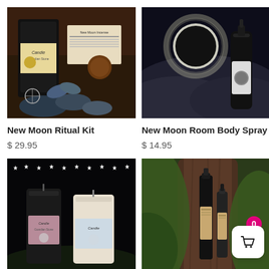[Figure (photo): New Moon Ritual Kit product photo showing a black candle with label, incense card, crystals and decorative ornament on dark background]
[Figure (photo): New Moon Room Body Spray product photo showing a spray bottle against a dramatic black and white moon/eclipse and clouds background]
New Moon Ritual Kit
$ 29.95
New Moon Room Body Spray
$ 14.95
[Figure (photo): Two candles on dark background with white star decorations — one black candle and one white/cream candle with labels]
[Figure (photo): Several dark glass bottles of oils or sprays arranged in front of a large tree trunk with green foliage in background]